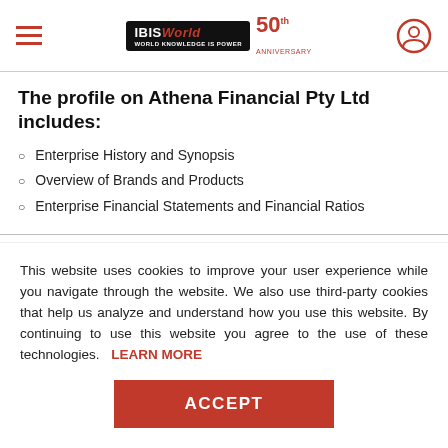IBISWorld 50th Anniversary
The profile on Athena Financial Pty Ltd includes:
Enterprise History and Synopsis
Overview of Brands and Products
Enterprise Financial Statements and Financial Ratios
This website uses cookies to improve your user experience while you navigate through the website. We also use third-party cookies that help us analyze and understand how you use this website. By continuing to use this website you agree to the use of these technologies. LEARN MORE
ACCEPT